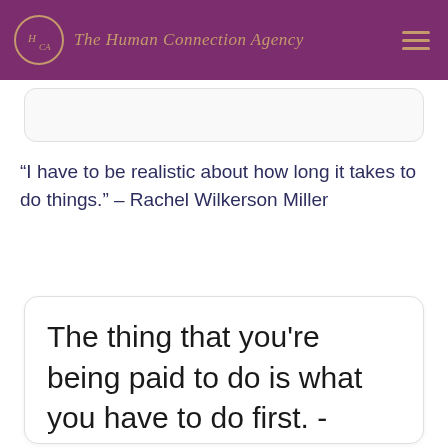The Human Connection Agency
“I have to be realistic about how long it takes to do things.” – Rachel Wilkerson Miller
The thing that you're being paid to do is what you have to do first. -